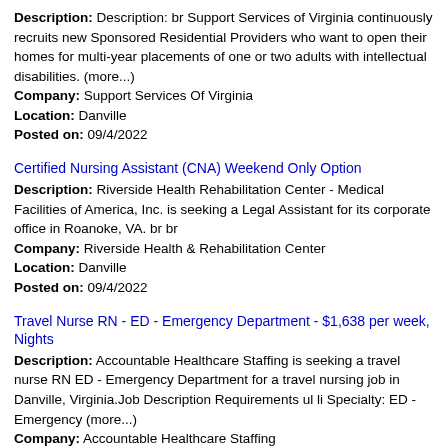Description: Description: br Support Services of Virginia continuously recruits new Sponsored Residential Providers who want to open their homes for multi-year placements of one or two adults with intellectual disabilities. (more...)
Company: Support Services Of Virginia
Location: Danville
Posted on: 09/4/2022
Certified Nursing Assistant (CNA) Weekend Only Option
Description: Riverside Health Rehabilitation Center - Medical Facilities of America, Inc. is seeking a Legal Assistant for its corporate office in Roanoke, VA. br br
Company: Riverside Health & Rehabilitation Center
Location: Danville
Posted on: 09/4/2022
Travel Nurse RN - ED - Emergency Department - $1,638 per week, Nights
Description: Accountable Healthcare Staffing is seeking a travel nurse RN ED - Emergency Department for a travel nursing job in Danville, Virginia.Job Description Requirements ul li Specialty: ED - Emergency (more...)
Company: Accountable Healthcare Staffing
Location: Danville